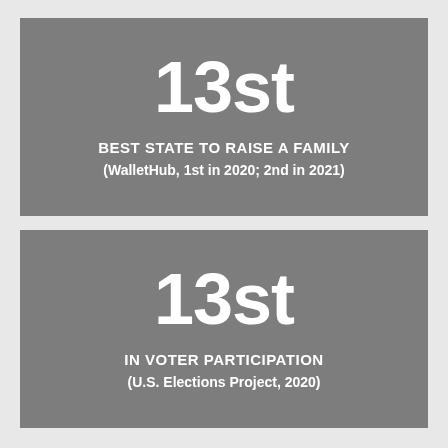[Figure (infographic): Gray card showing '13st' ranking as BEST STATE TO RAISE A FAMILY (WalletHub, 1st in 2020; 2nd in 2021)]
[Figure (infographic): Gray card showing '13st' ranking IN VOTER PARTICIPATION (U.S. Elections Project, 2020)]